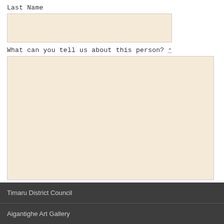Last Name
What can you tell us about this person? *
Attachment - you may attach an image or document up to 10MB
[Figure (screenshot): File input field with 'Choose File' button and 'No file chosen' text]
SUBMIT
Timaru District Council
Aigantighe Art Gallery